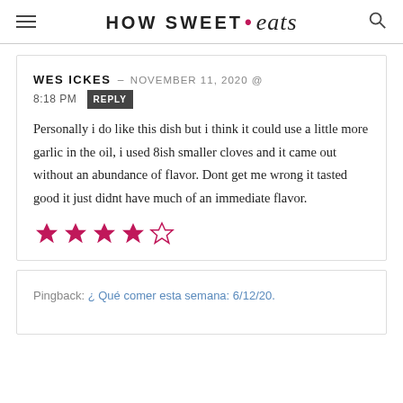HOW SWEET • eats
WES ICKES — NOVEMBER 11, 2020 @ 8:18 PM REPLY
Personally i do like this dish but i think it could use a little more garlic in the oil, i used 8ish smaller cloves and it came out without an abundance of flavor. Dont get me wrong it tasted good it just didnt have much of an immediate flavor.
[Figure (other): 4 out of 5 stars rating in magenta/pink color]
Pingback: ¿ Qué comer esta semana: 6/12/20.